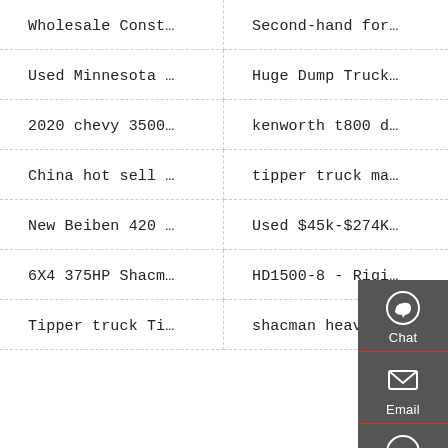Wholesale Const…
Second-hand for…
Used Minnesota …
Huge Dump Truck…
2020 chevy 3500…
kenworth t800 d…
China hot sell …
tipper truck ma…
New Beiben 420 …
Used $45k-$274K…
6X4 375HP Shacm…
HD1500-8 - Rigi…
Tipper truck Ti…
shacman heavy d…